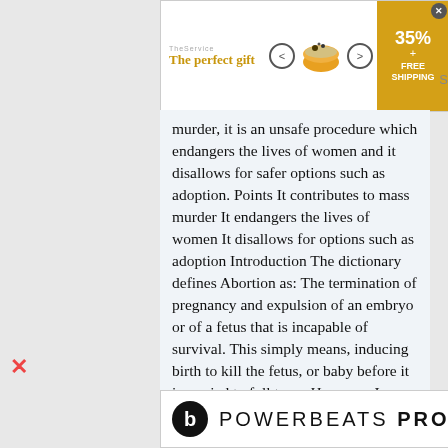[Figure (other): Top advertisement banner: 'The perfect gift' in gold text with TheService branding, food bowl image with navigation arrows, and a gold badge showing '35% + FREE SHIPPING' with a close button]
murder, it is an unsafe procedure which endangers the lives of women and it disallows for safer options such as adoption. Points It contributes to mass murder It endangers the lives of women It disallows for options such as adoption Introduction The dictionary defines Abortion as: The termination of pregnancy and expulsion of an embryo or of a fetus that is incapable of survival. This simply means, inducing birth to kill the fetus, or baby before it is carried to full term. However, I would define abortion as morally and spiritually wrong. How would you feel if you were denied the right to live? Imagine being held against your will, gagged, and your hands bounded as you are placed in front of a firing squad about to be killed for absolutely no reason. Your right
[Figure (other): Bottom advertisement banner for Beats Powerbeats Pro headphones with 'BUY NOW' button]